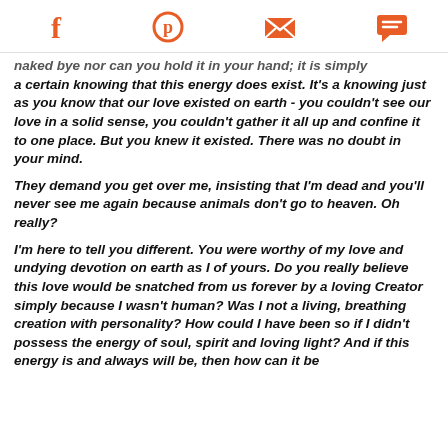[Social share icons: Facebook, Pinterest, Email, Chat]
naked bye nor can you hold it in your hand; it is simply a certain knowing that this energy does exist. It's a knowing just as you know that our love existed on earth - you couldn't see our love in a solid sense, you couldn't gather it all up and confine it to one place. But you knew it existed. There was no doubt in your mind.
They demand you get over me, insisting that I'm dead and you'll never see me again because animals don't go to heaven. Oh really?
I'm here to tell you different. You were worthy of my love and undying devotion on earth as I of yours. Do you really believe this love would be snatched from us forever by a loving Creator simply because I wasn't human? Was I not a living, breathing creation with personality? How could I have been so if I didn't possess the energy of soul, spirit and loving light? And if this energy is and always will be, then how can it be